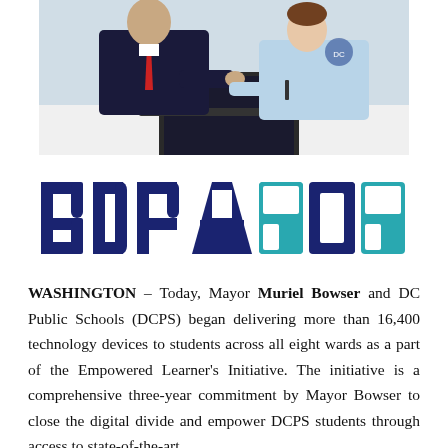[Figure (photo): Two people sitting at a table with a laptop/tablet device, one wearing a dark suit with red tie, the other wearing a light blue shirt]
[Figure (logo): BDPA2020 logo with dark blue text for BDPA and teal/cyan stylized '2020' lettering]
WASHINGTON – Today, Mayor Muriel Bowser and DC Public Schools (DCPS) began delivering more than 16,400 technology devices to students across all eight wards as a part of the Empowered Learner's Initiative. The initiative is a comprehensive three-year commitment by Mayor Bowser to close the digital divide and empower DCPS students through access to state-of-the-art